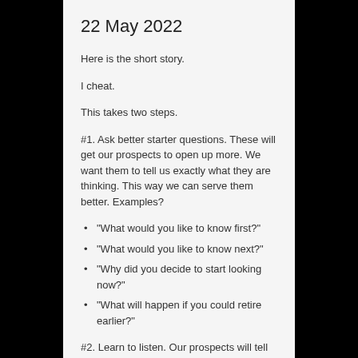22 May 2022
Here is the short story.
I cheat.
This takes two steps.
#1. Ask better starter questions. These will get our prospects to open up more. We want them to tell us exactly what they are thinking. This way we can serve them better. Examples?
"What would you like to know first?"
"What would you like to know next?"
"Why did you decide to start looking now?"
"What will happen if you could retire earlier?"
#2. Learn to listen. Our prospects will tell us exactly what we need to know. Prospects love